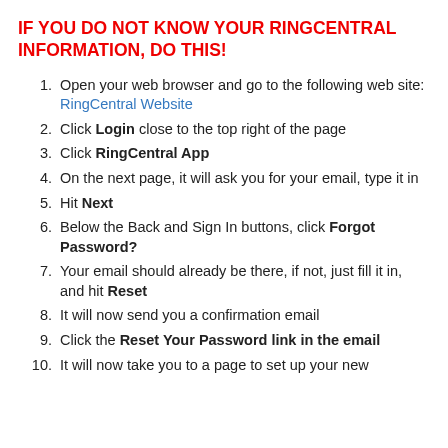IF YOU DO NOT KNOW YOUR RINGCENTRAL INFORMATION, DO THIS!
Open your web browser and go to the following web site: RingCentral Website
Click Login close to the top right of the page
Click RingCentral App
On the next page, it will ask you for your email, type it in
Hit Next
Below the Back and Sign In buttons, click Forgot Password?
Your email should already be there, if not, just fill it in, and hit Reset
It will now send you a confirmation email
Click the Reset Your Password link in the email
It will now take you to a page to set up your new